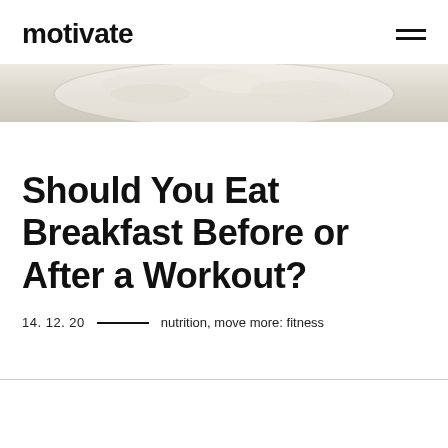motivate
[Figure (photo): Top-down partial view of a bowl of oatmeal or cereal with milk, light background]
Should You Eat Breakfast Before or After a Workout?
14. 12. 20  —  nutrition, move more: fitness